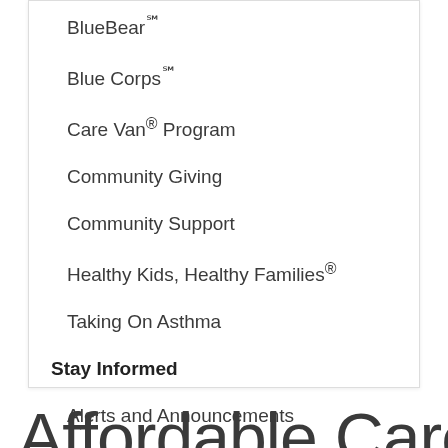BlueBear℠
Blue Corps℠
Care Van® Program
Community Giving
Community Support
Healthy Kids, Healthy Families®
Taking On Asthma
Stay Informed
Alerts and Announcements
Newsroom
Affordable Care Act